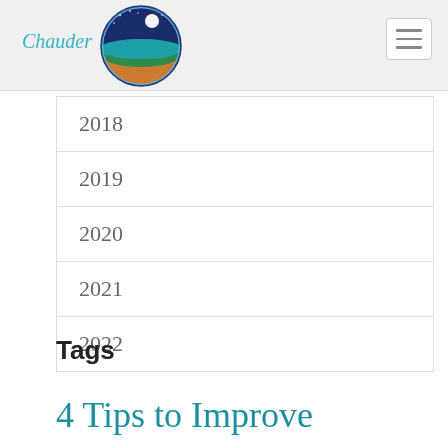Chauder
2018
2019
2020
2021
2022
Tags
4 Tips to Improve